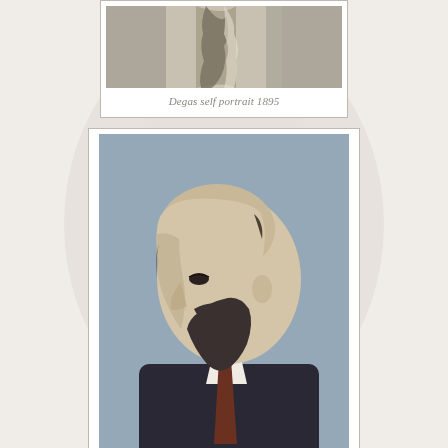[Figure (photo): Top portion of a black and white photograph showing the top of a person's head and hair, cropped — Degas self portrait 1895]
Degas self portrait 1895
[Figure (photo): Portrait painting of a bearded man in profile facing left, wearing a dark suit with white collar, balding head, with beard and mustache, painted in oil on a blue-grey background]